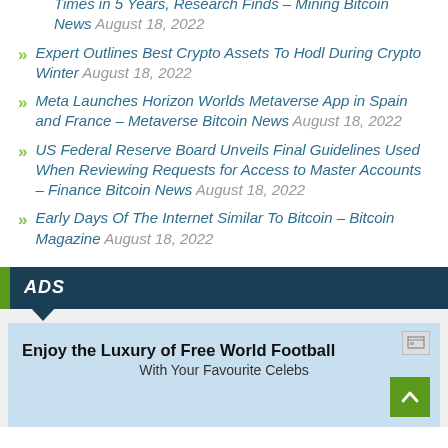Electricity Consumption by Russian Crypto Miners Spikes 10 Times in 5 Years, Research Finds – Mining Bitcoin News August 18, 2022
Expert Outlines Best Crypto Assets To Hodl During Crypto Winter August 18, 2022
Meta Launches Horizon Worlds Metaverse App in Spain and France – Metaverse Bitcoin News August 18, 2022
US Federal Reserve Board Unveils Final Guidelines Used When Reviewing Requests for Access to Master Accounts – Finance Bitcoin News August 18, 2022
Early Days Of The Internet Similar To Bitcoin – Bitcoin Magazine August 18, 2022
ADS
[Figure (screenshot): Advertisement banner with light blue background showing 'Enjoy the Luxury of Free World Football With Your Favourite Celebs' with a green scroll-to-top arrow button]